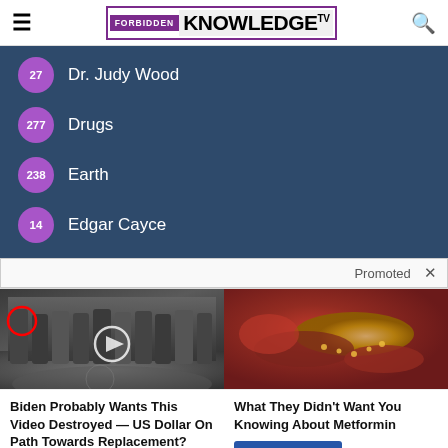FORBIDDEN KNOWLEDGE TV
27 Dr. Judy Wood
277 Drugs
238 Earth
14 Edgar Cayce
Promoted ×
[Figure (photo): Group of people standing in front of CIA seal on floor, with red circle highlighting one person on the left and a play button overlay in the center]
[Figure (photo): Close-up medical image of internal organ (possibly pancreas or intestine) in red/yellow tones]
Biden Probably Wants This Video Destroyed — US Dollar On Path Towards Replacement?
Watch The Video
What They Didn't Want You Knowing About Metformin
Watch The Video